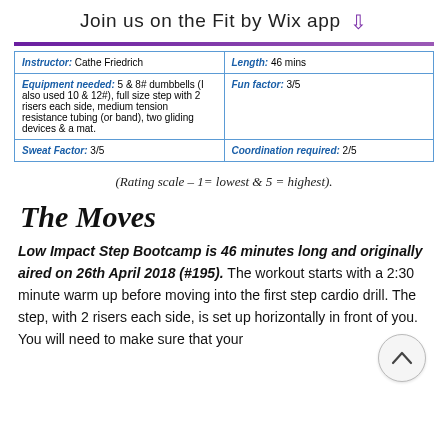Join us on the Fit by Wix app
| Instructor | Length |
| --- | --- |
| Instructor: Cathe Friedrich | Length: 46 mins |
| Equipment needed: 5 & 8# dumbbells (I also used 10 & 12#), full size step with 2 risers each side, medium tension resistance tubing (or band), two gliding devices & a mat. | Fun factor: 3/5 |
| Sweat Factor: 3/5 | Coordination required: 2/5 |
(Rating scale – 1= lowest & 5 = highest).
The Moves
Low Impact Step Bootcamp is 46 minutes long and originally aired on 26th April 2018 (#195). The workout starts with a 2:30 minute warm up before moving into the first step cardio drill. The step, with 2 risers each side, is set up horizontally in front of you. You will need to make sure that your